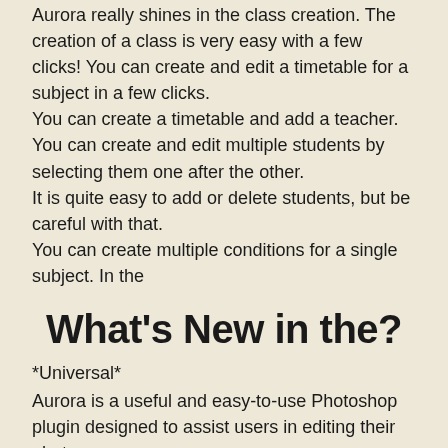Aurora really shines in the class creation. The creation of a class is very easy with a few clicks! You can create and edit a timetable for a subject in a few clicks.
You can create a timetable and add a teacher.
You can create and edit multiple students by selecting them one after the other.
It is quite easy to add or delete students, but be careful with that.
You can create multiple conditions for a single subject. In the
What's New in the?
*Universal*
Aurora is a useful and easy-to-use Photoshop plugin designed to assist users in editing their photos.
With the help of Aurora, you can set the layers, the correct distance between objects and create clouds and water surfaces over the original image. After adjusting the effects, you will obtain a real three-dimensional object with